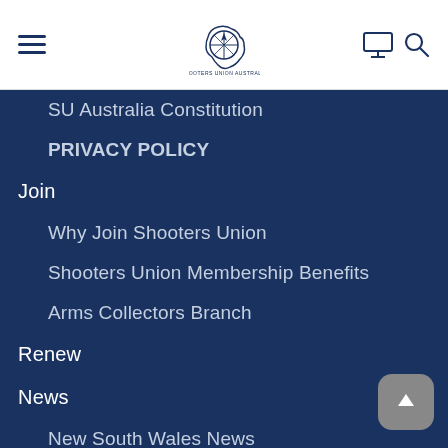[Figure (logo): Shooters Union Australia logo with compass rose over Australia map outline]
SU Australia Constitution
PRIVACY POLICY
Join
Why Join Shooters Union
Shooters Union Membership Benefits
Arms Collectors Branch
Renew
News
New South Wales News
Queensland News
South Australian News
Victorian News
Western Australia News
Links